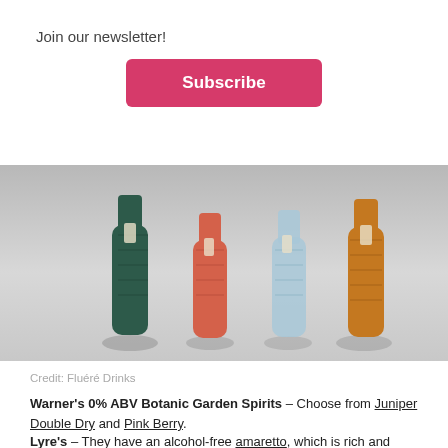Join our newsletter!
Subscribe
[Figure (photo): Four decorative glass bottles of Fluére non-alcoholic spirits in dark green, coral/pink, light blue, and amber/orange colors, arranged on a light gray surface]
Credit: Fluéré Drinks
Warner's 0% ABV Botanic Garden Spirits – Choose from Juniper Double Dry and Pink Berry.
Lyre's – They have an alcohol-free amaretto, which is rich and sweet and can be enjoyed neat when chilled or add it into cocktails. Their Italian